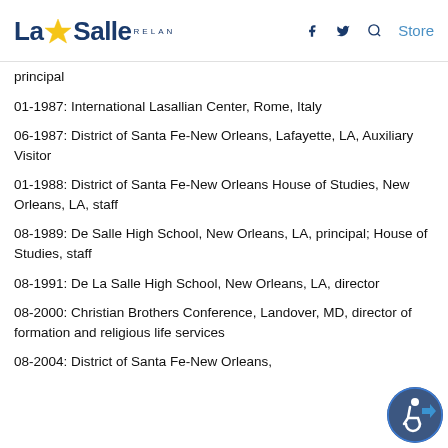La Salle RELAN — navigation header with logo, social icons, and Store link
principal
01-1987: International Lasallian Center, Rome, Italy
06-1987: District of Santa Fe-New Orleans, Lafayette, LA, Auxiliary Visitor
01-1988: District of Santa Fe-New Orleans House of Studies, New Orleans, LA, staff
08-1989: De Salle High School, New Orleans, LA, principal; House of Studies, staff
08-1991: De La Salle High School, New Orleans, LA, director
08-2000: Christian Brothers Conference, Landover, MD, director of formation and religious life services
08-2004: District of Santa Fe-New Orleans,